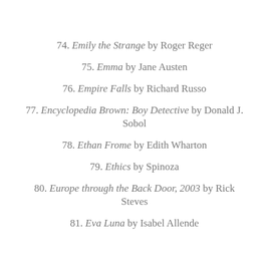74. Emily the Strange by Roger Reger
75. Emma by Jane Austen
76. Empire Falls by Richard Russo
77. Encyclopedia Brown: Boy Detective by Donald J. Sobol
78. Ethan Frome by Edith Wharton
79. Ethics by Spinoza
80. Europe through the Back Door, 2003 by Rick Steves
81. Eva Luna by Isabel Allende